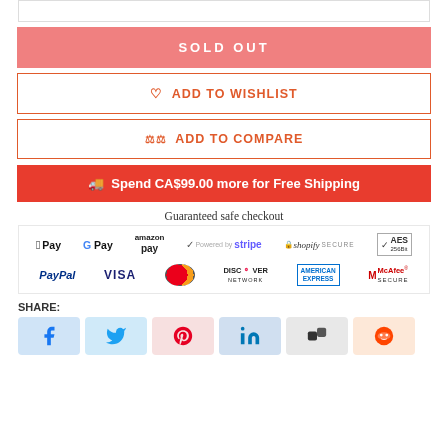[Figure (screenshot): Partial top white box (product image area, cropped)]
SOLD OUT
♡  ADD TO WISHLIST
⚖  ADD TO COMPARE
🚚  Spend CA$99.00 more for Free Shipping
Guaranteed safe checkout
[Figure (infographic): Payment method logos: Apple Pay, G Pay, amazon pay, Stripe, Shopify Secure, AES 256Bit, PayPal, VISA, Mastercard, Discover Network, American Express, McAfee Secure]
SHARE:
[Figure (infographic): Social share buttons: Facebook, Twitter, Pinterest, LinkedIn, Buffer, Reddit]